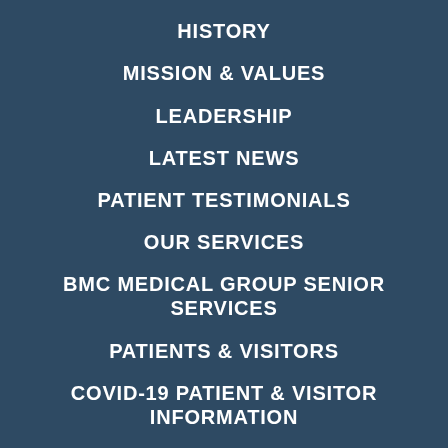HISTORY
MISSION & VALUES
LEADERSHIP
LATEST NEWS
PATIENT TESTIMONIALS
OUR SERVICES
BMC MEDICAL GROUP SENIOR SERVICES
PATIENTS & VISITORS
COVID-19 PATIENT & VISITOR INFORMATION